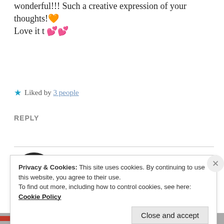wonderful!!! Such a creative expression of your thoughts!🧡
Love it t 💕💕
★ Liked by 3 people
REPLY
[Figure (photo): Circular avatar photo of Ishita Gupta, showing a person near a table with bokeh background]
ISHITA GUPTA
Mar 14, 2021 at 12:25 pm
Privacy & Cookies: This site uses cookies. By continuing to use this website, you agree to their use.
To find out more, including how to control cookies, see here: Cookie Policy
Close and accept